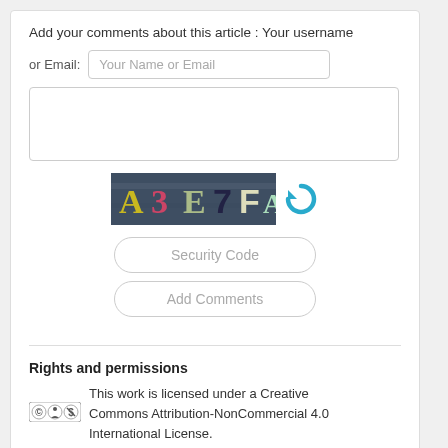Add your comments about this article : Your username
or Email:  Your Name or Email
[Figure (other): Comment text area (empty textarea input)]
[Figure (other): CAPTCHA image showing characters A3 E7 FA with a refresh/reload icon]
Security Code
Add Comments
Rights and permissions
This work is licensed under a Creative Commons Attribution-NonCommercial 4.0 International License.